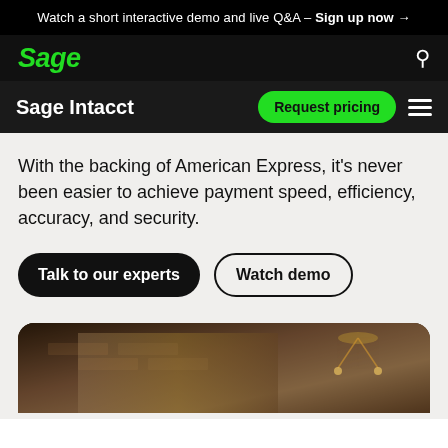Watch a short interactive demo and live Q&A – Sign up now →
[Figure (logo): Sage logo in green italic text on black background with search icon]
Sage Intacct
With the backing of American Express, it's never been easier to achieve payment speed, efficiency, accuracy, and security.
[Figure (photo): Interior restaurant photo showing brick wall and decorative chandelier]